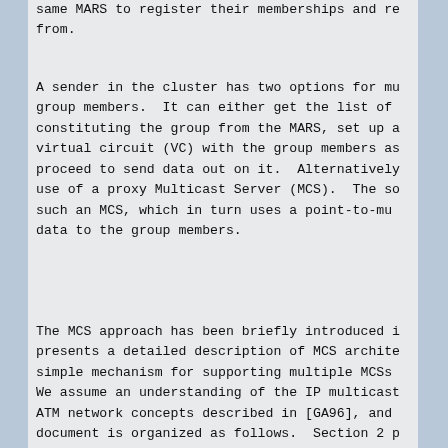same MARS to register their memberships and re from.
A sender in the cluster has two options for mu group members.  It can either get the list of constituting the group from the MARS, set up a virtual circuit (VC) with the group members as proceed to send data out on it.  Alternatively use of a proxy Multicast Server (MCS).  The so such an MCS, which in turn uses a point-to-mu data to the group members.
The MCS approach has been briefly introduced i presents a detailed description of MCS archite simple mechanism for supporting multiple MCSs We assume an understanding of the IP multicast ATM network concepts described in [GA96], and document is organized as follows.  Section 2 p with the local UNI 3.0/3.1 signaling entity th the document and have been originally describe presents an MCS architecture, along with a des interactions with the MARS. Section 4 describe MCS. The possibility of using multiple MCSs fo